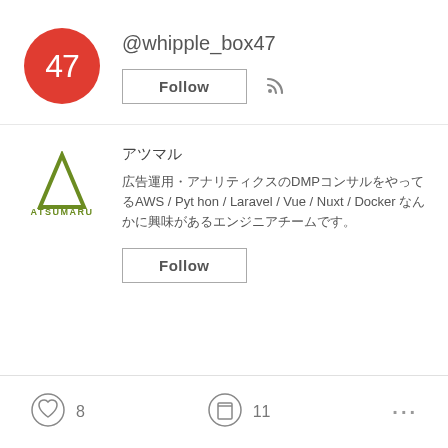[Figure (illustration): Red circle avatar with number 47 in white]
@whipple_box47
Follow
[Figure (illustration): RSS feed icon]
[Figure (logo): ATSUMARU logo - green triangle with text ATSUMARU below]
アツマル
広告運用・アナリティクスのDMPコンサルをやってるAWS / Python / Laravel / Vue / Nuxt / Docker なんかに興味があるエンジニアチームです。
Follow
[Figure (illustration): Heart icon circle with count 8]
8
[Figure (illustration): Bookmark/clip icon circle with count 11]
11
...